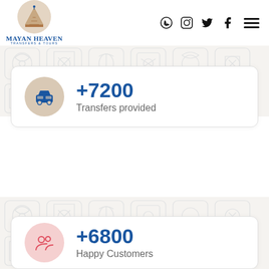[Figure (logo): Mayan Heaven Transfers & Tours logo with pyramid icon in beige circle]
[Figure (infographic): Social media icons: WhatsApp, Instagram, Twitter, Facebook, and hamburger menu]
[Figure (illustration): Mayan glyph decorative pattern band, light gray on white background]
+7200
Transfers provided
[Figure (illustration): Mayan glyph decorative pattern band, light gray on white background]
+6800
Happy Customers